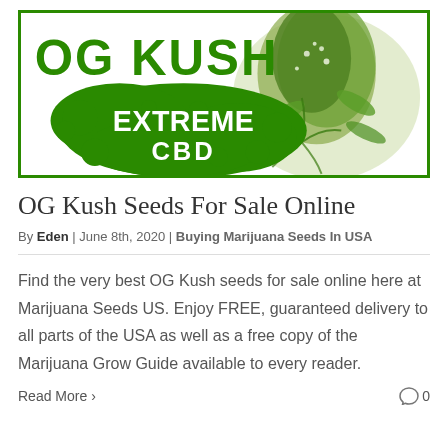[Figure (illustration): OG Kush Extreme CBD banner with large green text 'OG KUSH', a green paint splat with 'EXTREME CBD' written in white, and a cannabis plant bud on the right side, all inside a green border rectangle.]
OG Kush Seeds For Sale Online
By Eden | June 8th, 2020 | Buying Marijuana Seeds In USA
Find the very best OG Kush seeds for sale online here at Marijuana Seeds US. Enjoy FREE, guaranteed delivery to all parts of the USA as well as a free copy of the Marijuana Grow Guide available to every reader.
Read More › 0